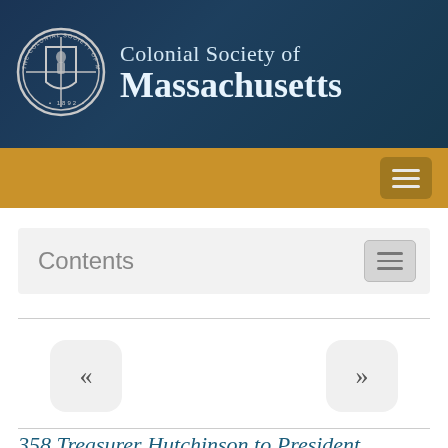[Figure (logo): Colonial Society of Massachusetts header banner with circular seal/emblem on left and text 'Colonial Society of Massachusetts' on dark blue background]
[Figure (screenshot): Gold navigation bar with hamburger menu button on right]
Contents
[Figure (screenshot): Pagination navigation with left double-chevron arrow button and right double-chevron arrow button]
358 Treasurer Hutchinson to President